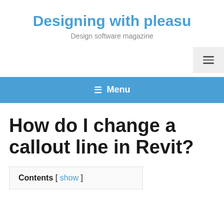Designing with pleasu
Design software magazine
[Figure (other): Hamburger menu toggle button (three horizontal lines icon) in a light grey box, positioned at top right]
☰ Menu
How do I change a callout line in Revit?
Contents [ show ]